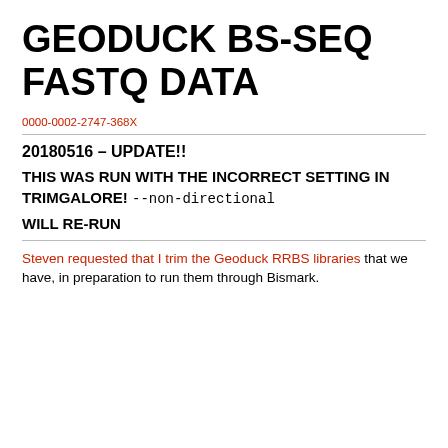GEODUCK BS-SEQ FASTQ DATA
0000-0002-2747-368X
20180516 – UPDATE!!
THIS WAS RUN WITH THE INCORRECT SETTING IN TRIMGALORE! --non-directional
WILL RE-RUN
Steven requested that I trim the Geoduck RRBS libraries that we have, in preparation to run them through Bismark.